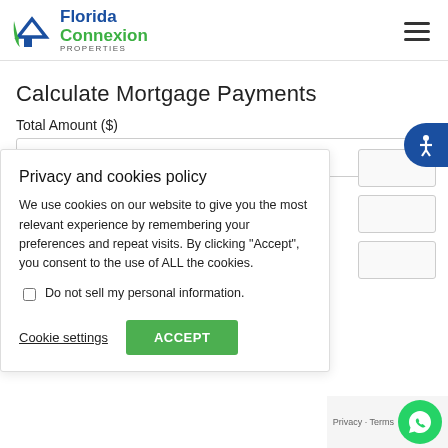Florida Connexion Properties
Calculate Mortgage Payments
Total Amount ($)
300000.00
Privacy and cookies policy
We use cookies on our website to give you the most relevant experience by remembering your preferences and repeat visits. By clicking "Accept", you consent to the use of ALL the cookies.
Do not sell my personal information.
Cookie settings
ACCEPT
Privacy · Terms